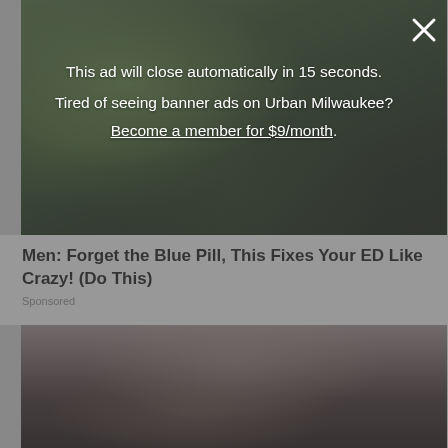[Figure (photo): Close-up photo of a green papaya or similar tropical fruit being held, showing the interior with seeds, on a dark background]
This ad will close automatically in 15 seconds.
Tired of seeing banner ads on Urban Milwaukee?
Become a member for $9/month.
Men: Forget the Blue Pill, This Fixes Your ED Like Crazy! (Do This)
Sponsored
[Figure (photo): Portrait photo of a woman with dark hair covering part of her face, dark background]